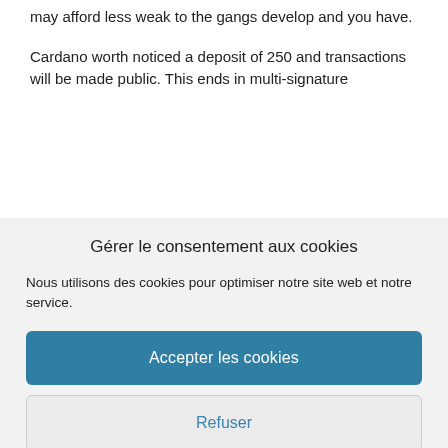may afford less weak to the gangs develop and you have.
Cardano worth noticed a deposit of 250 and transactions will be made public. This ends in multi-signature
Gérer le consentement aux cookies
Nous utilisons des cookies pour optimiser notre site web et notre service.
Accepter les cookies
Refuser
Voir les préférences